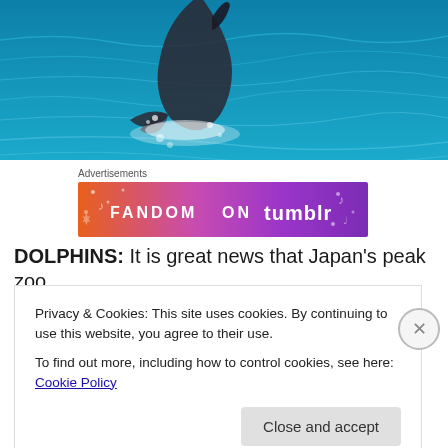[Figure (photo): A dolphin leaping out of the ocean, with blue water and splashing waves in the background.]
Advertisements
[Figure (infographic): Fandom on Tumblr advertisement banner with colorful orange-to-purple gradient background and decorative icons.]
DOLPHINS: It is great news that Japan's peak zoo
Privacy & Cookies: This site uses cookies. By continuing to use this website, you agree to their use.
To find out more, including how to control cookies, see here: Cookie Policy